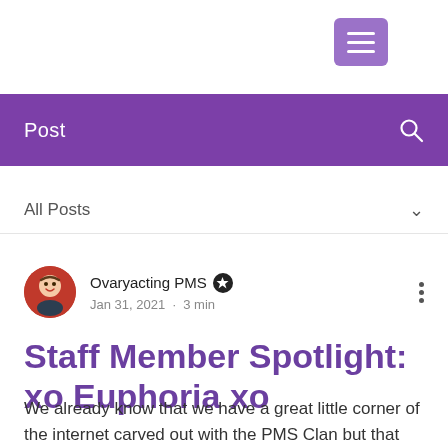[Figure (other): Hamburger menu button icon with three horizontal white lines on a medium purple square background]
Post
All Posts
Ovaryacting PMS  Jan 31, 2021 · 3 min
Staff Member Spotlight: xo Euphoria xo
We already know that we have a great little corner of the internet carved out with the PMS Clan but that doesn't just